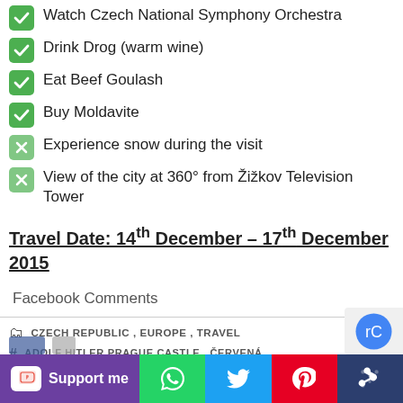✅ Watch Czech National Symphony Orchestra
✅ Drink Drog (warm wine)
✅ Eat Beef Goulash
✅ Buy Moldavite
🟩✖ Experience snow during the visit
🟩✖ View of the city at 360° from Žižkov Television Tower
Travel Date: 14th December – 17th December 2015
Facebook Comments
CZECH REPUBLIC , EUROPE , TRAVEL
ADOLF HITLER PRAGUE CASTLE , ČERVENÁ